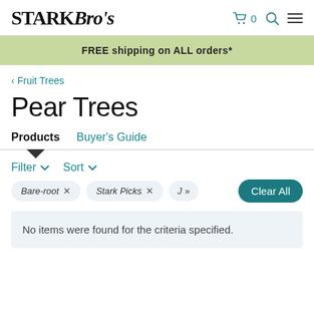Stark Bro's — Cart 0, Search, Menu
FREE shipping on ALL orders*
< Fruit Trees
Pear Trees
Products  Buyer's Guide
Filter ▾  Sort ▾
Bare-root ×  Stark Picks ×  J  »  Clear All
No items were found for the criteria specified.